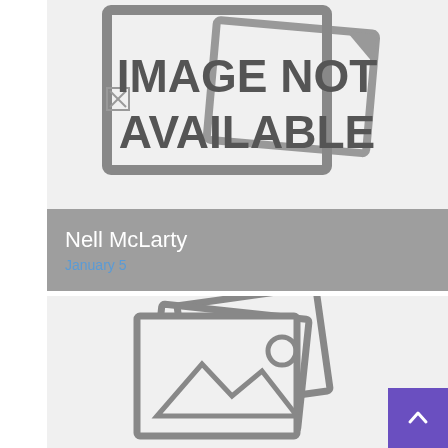[Figure (photo): Image not available placeholder with broken image icon and large text reading IMAGE NOT AVAILABLE]
Nell McLarty
January 5
[Figure (photo): Second image not available placeholder showing stacked photo frames icon]